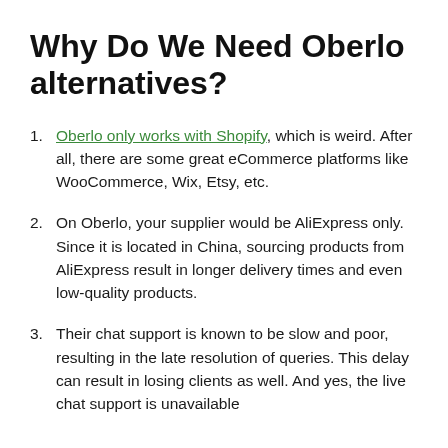Why Do We Need Oberlo alternatives?
Oberlo only works with Shopify, which is weird. After all, there are some great eCommerce platforms like WooCommerce, Wix, Etsy, etc.
On Oberlo, your supplier would be AliExpress only. Since it is located in China, sourcing products from AliExpress result in longer delivery times and even low-quality products.
Their chat support is known to be slow and poor, resulting in the late resolution of queries. This delay can result in losing clients as well. And yes, the live chat support is unavailable